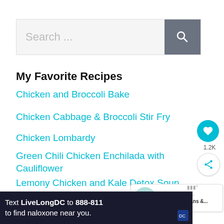[Figure (screenshot): Search bar with text placeholder 'Search ...' and a dark gray search button with magnifying glass icon]
My Favorite Recipes
Chicken and Broccoli Bake
Chicken Cabbage & Broccoli Stir Fry
Chicken Lombardy
Green Chili Chicken Enchilada with Cauliflower
Lemony Chicken and Kale Detox Soup
Tuna Cakes with Lemon Dijon Sauce
[Figure (infographic): Floating heart button (teal), count 1.2K, and share button on right side]
[Figure (infographic): What's Next widget with circular thumbnail and 'Shop Meal Plans &...' text]
[Figure (screenshot): Ad banner: Text LiveLongDC to 888-811 to find naloxone near you. With DC government logo.]